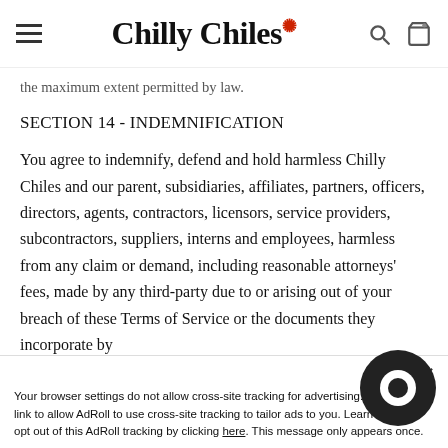Chilly Chiles
the maximum extent permitted by law.
SECTION 14 - INDEMNIFICATION
You agree to indemnify, defend and hold harmless Chilly Chiles and our parent, subsidiaries, affiliates, partners, officers, directors, agents, contractors, licensors, service providers, subcontractors, suppliers, interns and employees, harmless from any claim or demand, including reasonable attorneys' fees, made by any third-party due to or arising out of your breach of these Terms of Service or the documents they incorporate by
Your browser settings do not allow cross-site tracking for advertising. Click on the link to allow AdRoll to use cross-site tracking to tailor ads to you. Learn more or opt out of this AdRoll tracking by clicking here. This message only appears once.